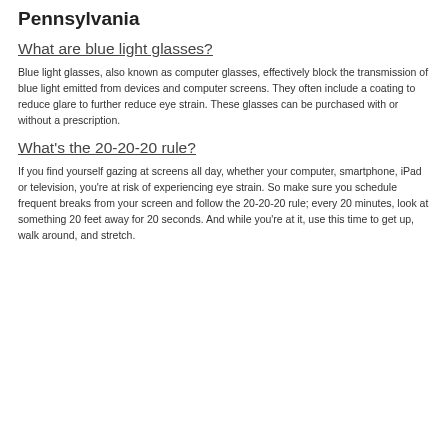Pennsylvania
What are blue light glasses?
Blue light glasses, also known as computer glasses, effectively block the transmission of blue light emitted from devices and computer screens. They often include a coating to reduce glare to further reduce eye strain. These glasses can be purchased with or without a prescription.
What's the 20-20-20 rule?
If you find yourself gazing at screens all day, whether your computer, smartphone, iPad or television, you're at risk of experiencing eye strain. So make sure you schedule frequent breaks from your screen and follow the 20-20-20 rule; every 20 minutes, look at something 20 feet away for 20 seconds. And while you're at it, use this time to get up, walk around, and stretch.